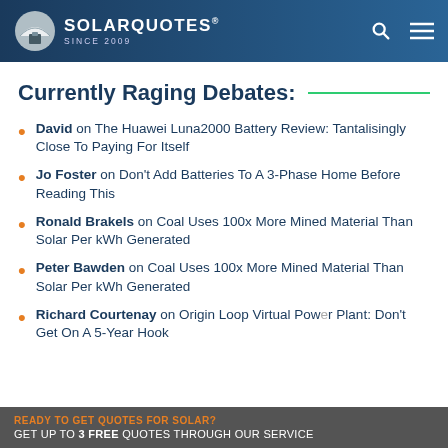SOLARQUOTES® SINCE 2009
Currently Raging Debates:
David on The Huawei Luna2000 Battery Review: Tantalisingly Close To Paying For Itself
Jo Foster on Don't Add Batteries To A 3-Phase Home Before Reading This
Ronald Brakels on Coal Uses 100x More Mined Material Than Solar Per kWh Generated
Peter Bawden on Coal Uses 100x More Mined Material Than Solar Per kWh Generated
Richard Courtenay on Origin Loop Virtual Power Plant: Don't Get On A 5-Year Hook
READY TO GET QUOTES FOR SOLAR? GET UP TO 3 FREE QUOTES THROUGH OUR SERVICE